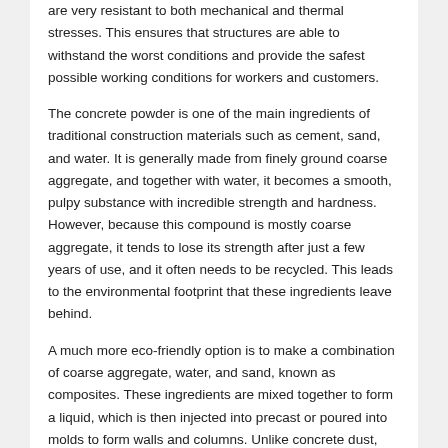are very resistant to both mechanical and thermal stresses. This ensures that structures are able to withstand the worst conditions and provide the safest possible working conditions for workers and customers.
The concrete powder is one of the main ingredients of traditional construction materials such as cement, sand, and water. It is generally made from finely ground coarse aggregate, and together with water, it becomes a smooth, pulpy substance with incredible strength and hardness. However, because this compound is mostly coarse aggregate, it tends to lose its strength after just a few years of use, and it often needs to be recycled. This leads to the environmental footprint that these ingredients leave behind.
A much more eco-friendly option is to make a combination of coarse aggregate, water, and sand, known as composites. These ingredients are mixed together to form a liquid, which is then injected into precast or poured into molds to form walls and columns. Unlike concrete dust, this mixture does not need to be recycled and can be